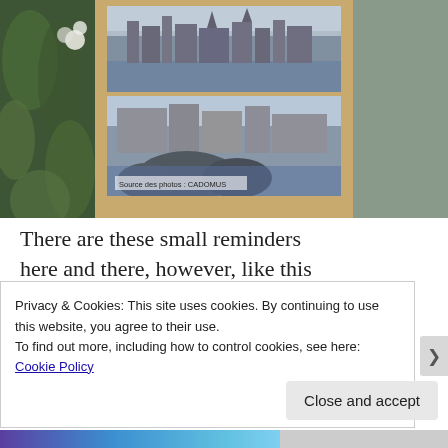[Figure (photo): A wooden display board holding two black-and-white historical photographs. The board is surrounded by green plants and flowers. The bottom photo has a label reading 'Source des photos : CADOMUS'.]
There are these small reminders here and there, however, like this one showing how this particular someone looked before and after
Privacy & Cookies: This site uses cookies. By continuing to use this website, you agree to their use.
To find out more, including how to control cookies, see here: Cookie Policy
Close and accept